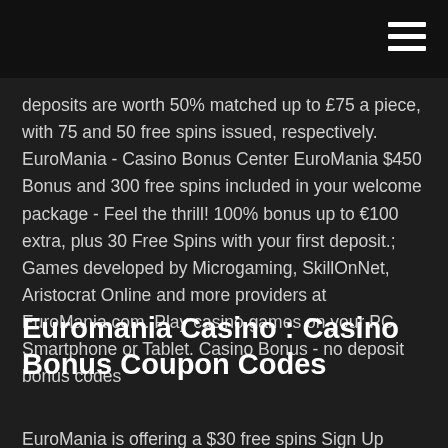deposits are worth 50% matched up to £75 a piece, with 75 and 50 free spins issued, respectively. EuroMania - Casino Bonus Center EuroMania $450 Bonus and 300 free spins included in your welcome package - Feel the thrill! 100% bonus up to €100 extra, plus 30 Free Spins with your first deposit.; Games developed by Microgaming, SkillOnNet, Aristocrat Online and more providers at EuroMania.com. Play casino games on your PC, Smartphone or Tablet. Casino Bonus - no deposit bonus codes
Euromania Casino : Casino Bonus Coupon Codes
EuroMania is offering a $30 free spins Sign Up Bonus for new players, visit us for the bonus code! ... Latest No